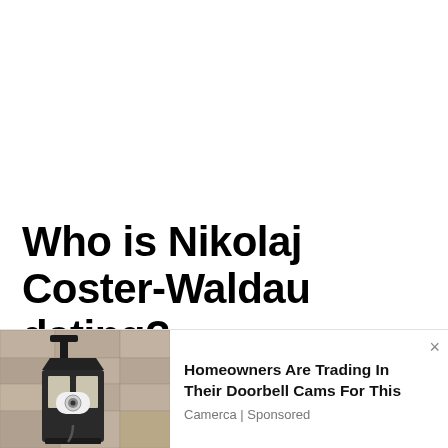Who is Nikolaj Coster-Waldau dating?
Nikolaj Coster-Waldau is currently married to Nukâka. The couple started dating in 1998
[Figure (photo): Outdoor wall-mounted lantern light fixture with a white security camera installed inside it, mounted on a stone or stucco wall]
Homeowners Are Trading In Their Doorbell Cams For This
Camerca | Sponsored